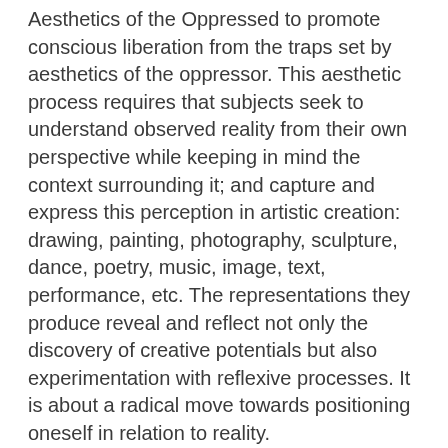Aesthetics of the Oppressed to promote conscious liberation from the traps set by aesthetics of the oppressor. This aesthetic process requires that subjects seek to understand observed reality from their own perspective while keeping in mind the context surrounding it; and capture and express this perception in artistic creation: drawing, painting, photography, sculpture, dance, poetry, music, image, text, performance, etc. The representations they produce reveal and reflect not only the discovery of creative potentials but also experimentation with reflexive processes. It is about a radical move towards positioning oneself in relation to reality.
The Aesthetics of the Oppressed is a set of activities. It aims at dismantling the oppressive system's strategy of influencing and convincing oppressed women and men that they are incapable of creating, producing, deciding, so they should be content to consume. The Aesthetics of the